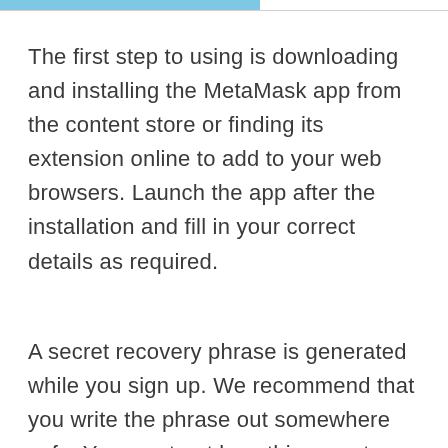The first step to using is downloading and installing the MetaMask app from the content store or finding its extension online to add to your web browsers. Launch the app after the installation and fill in your correct details as required.

A secret recovery phrase is generated while you sign up. We recommend that you write the phrase out somewhere safe. You must not lose this secret phrase